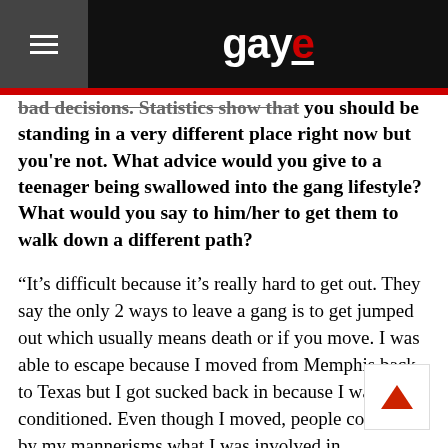gaye
bad decisions. Statistics show that you should be standing in a very different place right now but you're not. What advice would you give to a teenager being swallowed into the gang lifestyle? What would you say to him/her to get them to walk down a different path?
“It’s difficult because it’s really hard to get out. They say the only 2 ways to leave a gang is to get jumped out which usually means death or if you move. I was able to escape because I moved from Memphis back to Texas but I got sucked back in because I was so re-conditioned. Even though I moved, people could tell by my mannerisms what I was involved in. Eventually I got called out on it and fell